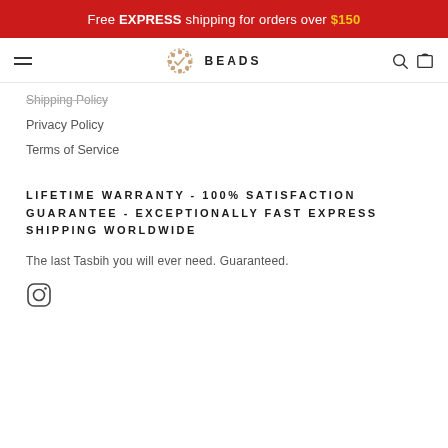Free EXPRESS shipping for orders over $150
[Figure (logo): Beads brand logo with bead necklace icon and text BEADS]
Shipping Policy
Privacy Policy
Terms of Service
LIFETIME WARRANTY - 100% SATISFACTION GUARANTEE - EXCEPTIONALLY FAST EXPRESS SHIPPING WORLDWIDE
The last Tasbih you will ever need. Guaranteed.
[Figure (logo): Instagram icon (circle with camera outline)]